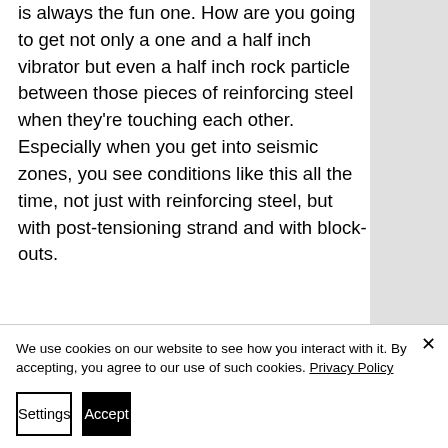is always the fun one. How are you going to get not only a one and a half inch vibrator but even a half inch rock particle between those pieces of reinforcing steel when they're touching each other. Especially when you get into seismic zones, you see conditions like this all the time, not just with reinforcing steel, but with post-tensioning strand and with block-outs.
This is one of the places where people say that BIM is going to help us.
We use cookies on our website to see how you interact with it. By accepting, you agree to our use of such cookies. Privacy Policy